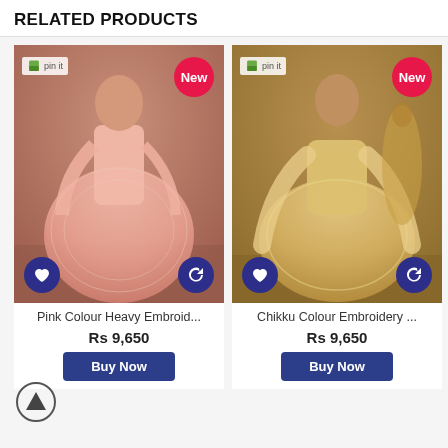RELATED PRODUCTS
[Figure (photo): Woman wearing pink colour heavy embroidered anarkali dress with floral background. Has 'New' badge, heart and refresh action icons, and pin it label.]
Pink Colour Heavy Embroid...
Rs 9,650
Buy Now
[Figure (photo): Woman wearing chikku colour embroidery lehenga with decorative background. Has 'New' badge, heart and refresh action icons, and pin it label.]
Chikku Colour Embroidery ...
Rs 9,650
Buy Now